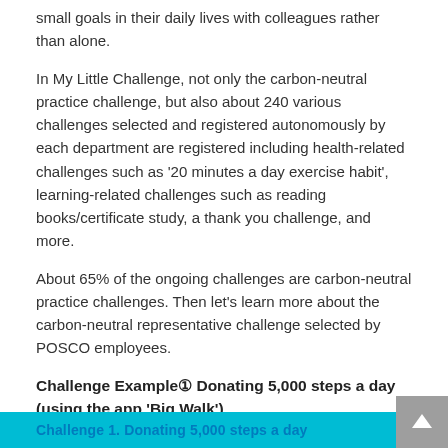small goals in their daily lives with colleagues rather than alone.
In My Little Challenge, not only the carbon-neutral practice challenge, but also about 240 various challenges selected and registered autonomously by each department are registered including health-related challenges such as '20 minutes a day exercise habit', learning-related challenges such as reading books/certificate study, a thank you challenge, and more.
About 65% of the ongoing challenges are carbon-neutral practice challenges. Then let's learn more about the carbon-neutral representative challenge selected by POSCO employees.
Challenge Example① Donating 5,000 steps a day (using the app 'Big Walk')
[Figure (infographic): Blue bar/banner with text 'Challenge 1. Donating 5,000 steps a day' in bold teal/blue font on a cyan background.]